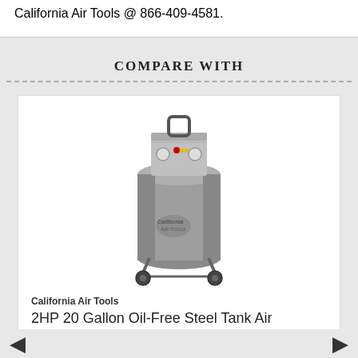California Air Tools @ 866-409-4581.
COMPARE WITH
[Figure (photo): California Air Tools 2HP 20 Gallon Oil-Free Steel Tank Air Compressor — vertical tank on wheels with control panel on top]
California Air Tools
2HP 20 Gallon Oil-Free Steel Tank Air Compressor